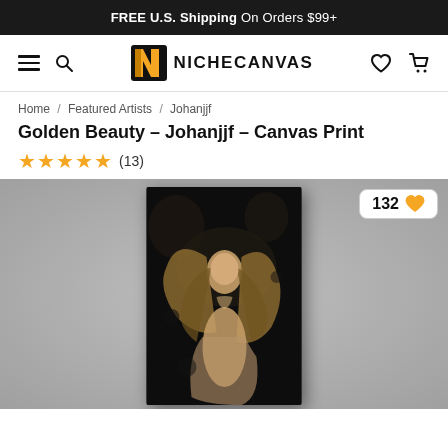FREE U.S. Shipping On Orders $99+
[Figure (logo): NicheCanvas logo with stylized N icon and text NICHECANVAS]
Home / Featured Artists / Johanjjf
Golden Beauty – Johanjjf – Canvas Print
★★★★★ (13)
[Figure (photo): Canvas print artwork showing a beautiful woman with flowing golden hair against a dark background with artistic ink splash effect. A wishlist badge showing 132 with a heart icon is in the top right corner.]